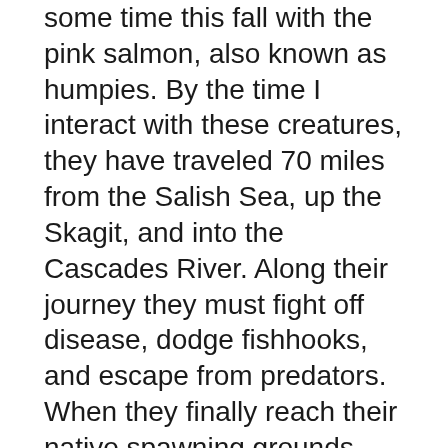some time this fall with the pink salmon, also known as humpies. By the time I interact with these creatures, they have traveled 70 miles from the Salish Sea, up the Skagit, and into the Cascades River. Along their journey they must fight off disease, dodge fishhooks, and escape from predators. When they finally reach their native spawning grounds, they barely have enough life left in them to reproduce before they die. The thing that fascinates me the most about these fish is the interconnectedness of their life histories to the health of the ecosystem. Dana Vasali, a naturalist from the Methow Valley, told our graduate cohort during our Fall Grad Retreat that if it was not for the dying salmon...